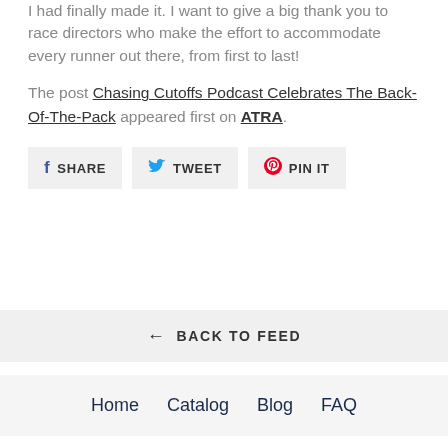I had finally made it. I want to give a big thank you to race directors who make the effort to accommodate every runner out there, from first to last!
The post Chasing Cutoffs Podcast Celebrates The Back-Of-The-Pack appeared first on ATRA.
[Figure (other): Social share buttons: SHARE (Facebook), TWEET (Twitter), PIN IT (Pinterest)]
← BACK TO FEED
Home
Catalog
Blog
FAQ